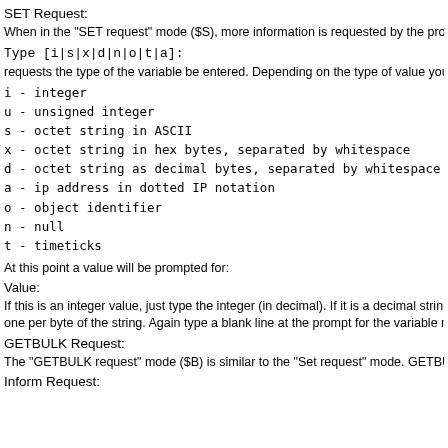SET Request:
When in the "SET request" mode ($S), more information is requested by the prom
Type [i|s|x|d|n|o|t|a]:
requests the type of the variable be entered. Depending on the type of value you
i - integer
u - unsigned integer
s - octet string in ASCII
x - octet string in hex bytes, separated by whitespace
d - octet string as decimal bytes, separated by whitespace
a - ip address in dotted IP notation
o - object identifier
n - null
t - timeticks
At this point a value will be prompted for:
Value:
If this is an integer value, just type the integer (in decimal). If it is a decimal strin one per byte of the string. Again type a blank line at the prompt for the variable na
GETBULK Request:
The "GETBULK request" mode ($B) is similar to the "Set request" mode. GETBU
Inform Request: